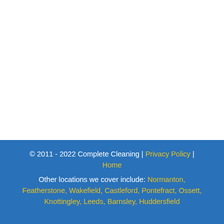© 2011 - 2022 Complete Cleaning | Privacy Policy | Home
Other locations we cover include: Normanton, Featherstone, Wakefield, Castleford, Pontefract, Ossett, Knottingley, Leeds, Barnsley, Huddersfield